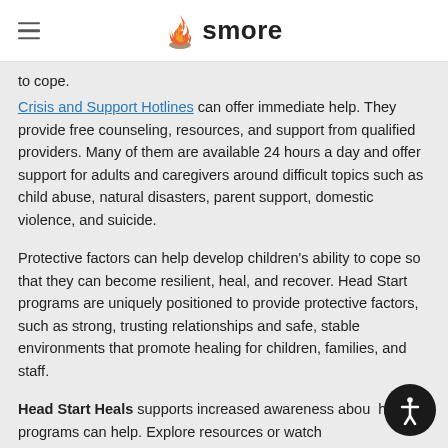smore
to cope.
Crisis and Support Hotlines can offer immediate help. They provide free counseling, resources, and support from qualified providers. Many of them are available 24 hours a day and offer support for adults and caregivers around difficult topics such as child abuse, natural disasters, parent support, domestic violence, and suicide.
Protective factors can help develop children's ability to cope so that they can become resilient, heal, and recover. Head Start programs are uniquely positioned to provide protective factors, such as strong, trusting relationships and safe, stable environments that promote healing for children, families, and staff.
Head Start Heals supports increased awareness about how programs can help. Explore resources or watch